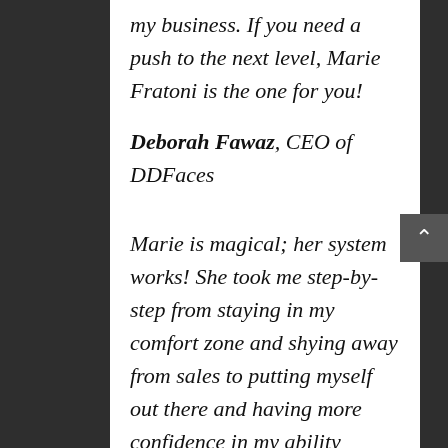my business. If you need a push to the next level, Marie Fratoni is the one for you!
Deborah Fawaz, CEO of DDFaces
Marie is magical; her system works! She took me step-by-step from staying in my comfort zone and shying away from sales to putting myself out there and having more confidence in my ability